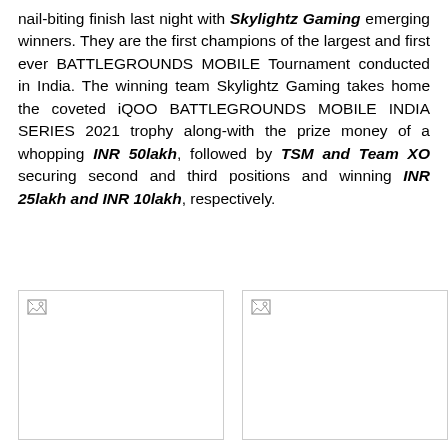nail-biting finish last night with Skylightz Gaming emerging winners. They are the first champions of the largest and first ever BATTLEGROUNDS MOBILE Tournament conducted in India. The winning team Skylightz Gaming takes home the coveted iQOO BATTLEGROUNDS MOBILE INDIA SERIES 2021 trophy along-with the prize money of a whopping INR 50lakh, followed by TSM and Team XO securing second and third positions and winning INR 25lakh and INR 10lakh, respectively.
[Figure (photo): Broken/missing image placeholder (left)]
[Figure (photo): Broken/missing image placeholder (right, partially visible)]